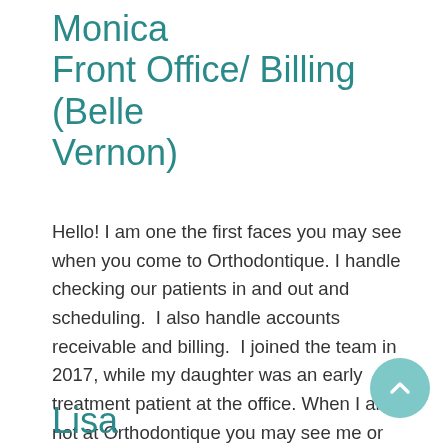Monica
Front Office/ Billing (Belle Vernon)
Hello! I am one the first faces you may see when you come to Orthodontique. I handle checking our patients in and out and scheduling.  I also handle accounts receivable and billing.  I joined the team in 2017, while my daughter was an early treatment patient at the office. When I am not at Orthodontique you may see me or know me from the baseball fields with my son Colt or gymnastics with my daughter Bella. I truly love what I do and the people I meet.
Lisa